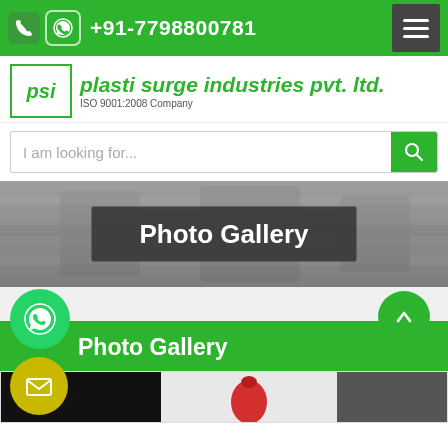+91-7798800781
[Figure (logo): Plasti Surge Industries Pvt. Ltd. logo with PSI emblem and ISO 9001:2008 Company text]
I am looking for...
Photo Gallery
Photo Gallery
[Figure (photo): Photo gallery thumbnails showing products including a red item]